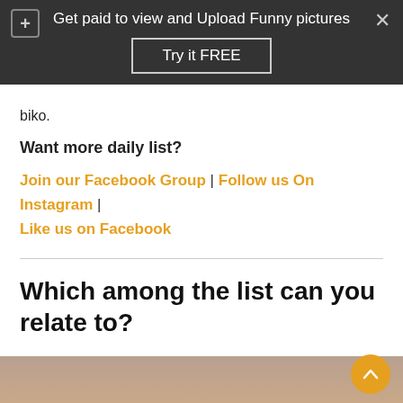[Figure (screenshot): Ad banner overlay with dark background showing 'Get paid to view and Upload Funny pictures' with a 'Try it FREE' button, close (X) and plus (+) icons]
biko.
Want more daily list?
Join our Facebook Group | Follow us On Instagram | Like us on Facebook
Which among the list can you relate to?
[Figure (photo): Partial photo visible at the bottom of the page, appears to show a person]